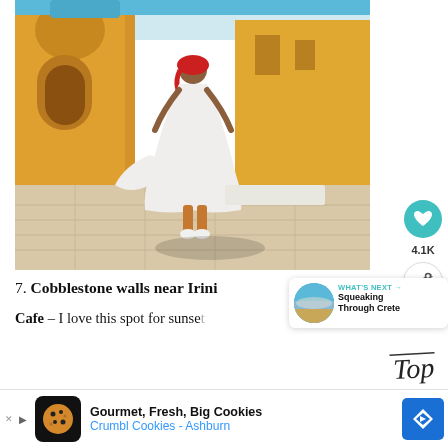[Figure (photo): A woman in a white flowing dress with a red headscarf walks away from camera on a sandy cobblestone square in front of a yellow ochre Mediterranean building. She is mid-stride, dress billowing to the side. Bright sunny day.]
7. Cobblestone walls near Irini Cafe
WHAT'S NEXT → Squeaking Through Crete
Cafe – I love this spot for sunsets
catching. Here the island curves
[Figure (other): Advertisement bar: Gourmet, Fresh, Big Cookies – Crumbl Cookies - Ashburn]